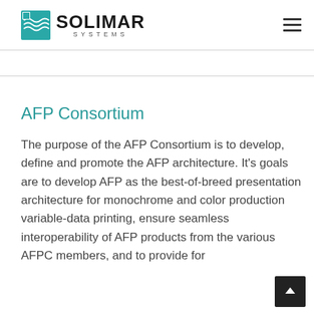Solimar Systems
AFP Consortium
The purpose of the AFP Consortium is to develop, define and promote the AFP architecture. It's goals are to develop AFP as the best-of-breed presentation architecture for monochrome and color production variable-data printing, ensure seamless interoperability of AFP products from the various AFPC members, and to provide for